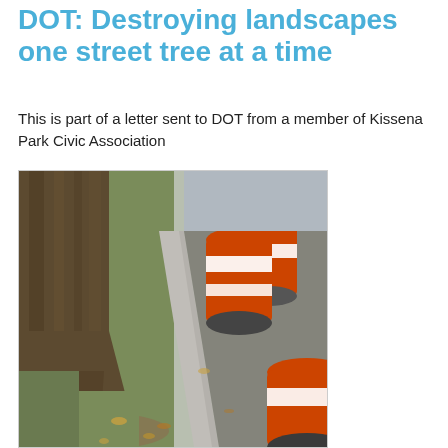DOT: Destroying landscapes one street tree at a time
This is part of a letter sent to DOT from a member of Kissena Park Civic Association
[Figure (photo): Outdoor photograph showing a large tree trunk on the left with grass/dirt ground, a concrete curb running diagonally, and orange-and-white striped construction barrels/barriers on a paved path to the right.]